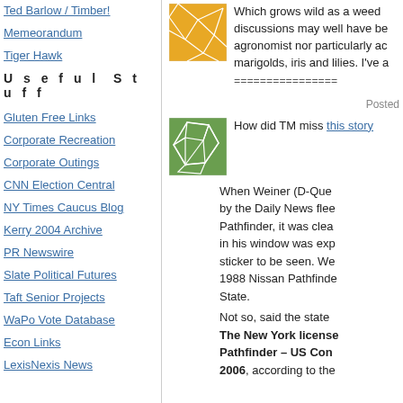Ted Barlow / Timber!
Memeorandum
Tiger Hawk
U s e f u l   S t u f f
Gluten Free Links
Corporate Recreation
Corporate Outings
CNN Election Central
NY Times Caucus Blog
Kerry 2004 Archive
PR Newswire
Slate Political Futures
Taft Senior Projects
WaPo Vote Database
Econ Links
LexisNexis News
[Figure (illustration): Orange square icon with white geometric web pattern]
Which grows wild as a weed discussions may well have be agronomist nor particularly ac marigolds, iris and lilies. I've a
================
Posted
[Figure (illustration): Green square icon with white geometric polygon/cell pattern]
How did TM miss this story
When Weiner (D-Que by the Daily News flee Pathfinder, it was clea in his window was exp sticker to be seen. We 1988 Nissan Pathfinde State.
Not so, said the state The New York license Pathfinder – US Con 2006, according to the